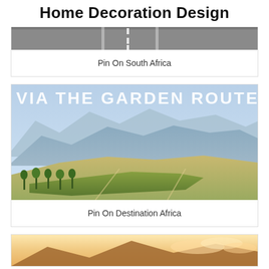Home Decoration Design
[Figure (photo): Aerial road view, bottom strip only visible]
Pin On South Africa
[Figure (photo): Landscape photo with text overlay reading VIA THE GARDEN ROUTE showing vineyards and mountains]
Pin On Destination Africa
[Figure (photo): Sunset over mountains, partially visible at bottom]